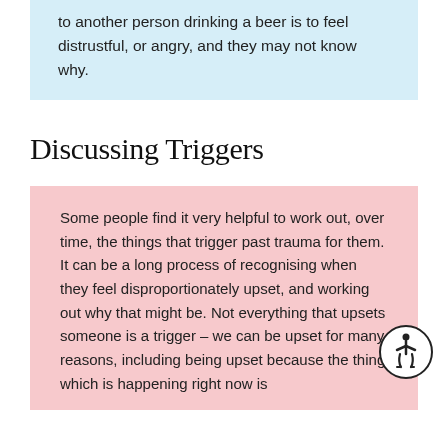to another person drinking a beer is to feel distrustful, or angry, and they may not know why.
Discussing Triggers
Some people find it very helpful to work out, over time, the things that trigger past trauma for them. It can be a long process of recognising when they feel disproportionately upset, and working out why that might be. Not everything that upsets someone is a trigger – we can be upset for many reasons, including being upset because the thing which is happening right now is